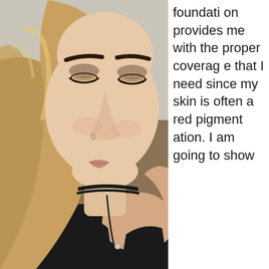[Figure (photo): A young woman with blonde highlighted wavy hair, wearing a black choker necklace and black tank top, looking downward. She has light eye makeup and a nose ring. The photo is a close-up selfie-style portrait.]
foundation provides me with the proper coverage that I need since my skin is often a red pigmentation. I am going to show